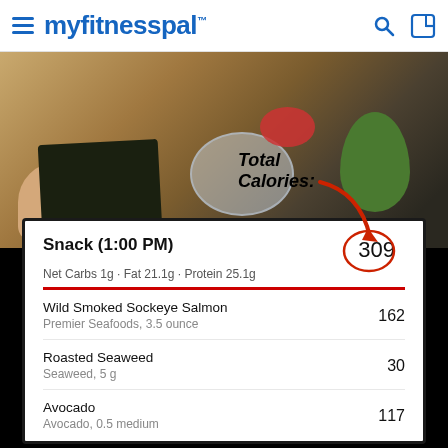myfitnesspal
[Figure (photo): Food photo showing seaweed snack, smoked salmon, avocado, and bowl on a wooden surface with annotation 'Total Calories:' and red arrow pointing down to 309]
| Food Item | Calories |
| --- | --- |
| Snack (1:00 PM)
Net Carbs 1g · Fat 21.1g · Protein 25.1g | 309 |
| Wild Smoked Sockeye Salmon
Premier Seafoods, 3.5 ounce | 162 |
| Roasted Seaweed
Seaweed, 5 g | 30 |
| Avocado
Avocado, 0.5 medium | 117 |